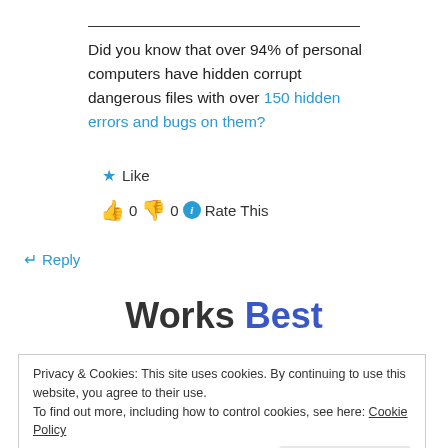Did you know that over 94% of personal computers have hidden corrupt dangerous files with over 150 hidden errors and bugs on them?
★ Like
👍 0  👎 0  ℹ Rate This
↵ Reply
Works Best
Privacy & Cookies: This site uses cookies. By continuing to use this website, you agree to their use.
To find out more, including how to control cookies, see here: Cookie Policy